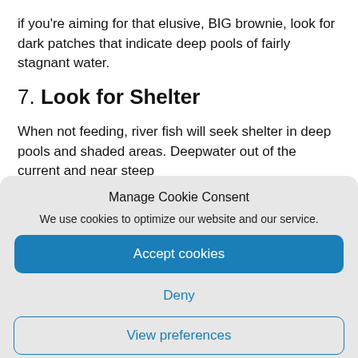if you're aiming for that elusive, BIG brownie, look for dark patches that indicate deep pools of fairly stagnant water.
7. Look for Shelter
When not feeding, river fish will seek shelter in deep pools and shaded areas. Deepwater out of the current and near steep
Manage Cookie Consent
We use cookies to optimize our website and our service.
Accept cookies
Deny
View preferences